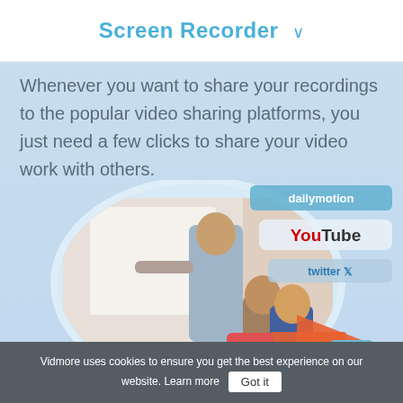Screen Recorder ∨
Whenever you want to share your recordings to the popular video sharing platforms, you just need a few clicks to share your video work with others.
[Figure (illustration): Promotional illustration showing a man presenting at a whiteboard with audience, overlaid with social media platform logos (dailymotion, YouTube, twitter, facebook) and video format icons (MP4, MOV, GIF, WMV, AVI, TS) with an orange arrow pointing right.]
Vidmore uses cookies to ensure you get the best experience on our website. Learn more  Got it